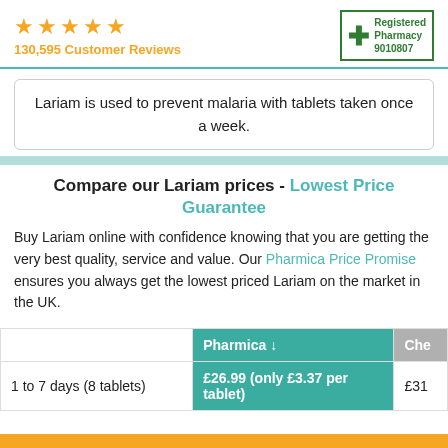[Figure (infographic): Five gold/orange star rating icons]
130,595 Customer Reviews
[Figure (logo): Registered Pharmacy logo with green cross and number 9010807]
Lariam is used to prevent malaria with tablets taken once a week.
Compare our Lariam prices - Lowest Price Guarantee
Buy Lariam online with confidence knowing that you are getting the very best quality, service and value. Our Pharmica Price Promise ensures you always get the lowest priced Lariam on the market in the UK.
|  | Pharmica ↓ | Che |
| --- | --- | --- |
| 1 to 7 days (8 tablets) | £26.99 (only £3.37 per tablet) | £31 |